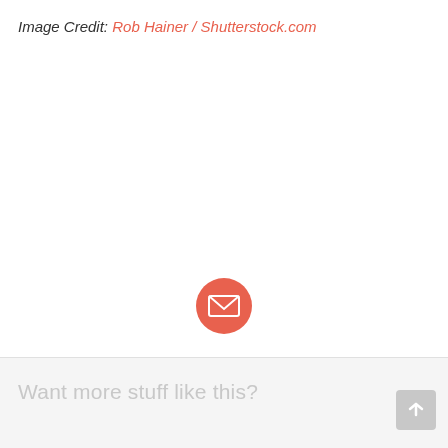Image Credit: Rob Hainer / Shutterstock.com
[Figure (illustration): Email/newsletter subscription icon: a salmon/coral colored circle with a white envelope icon in the center]
Want more stuff like this?